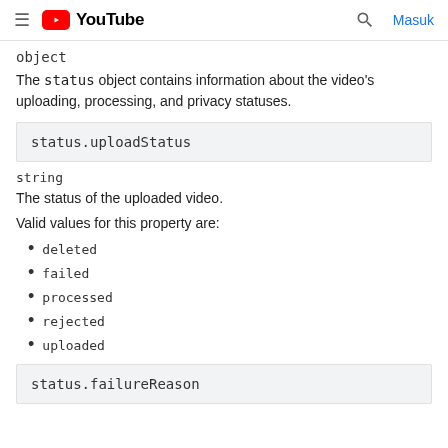YouTube — Masuk
object
The status object contains information about the video's uploading, processing, and privacy statuses.
status.uploadStatus
string
The status of the uploaded video.

Valid values for this property are:
deleted
failed
processed
rejected
uploaded
status.failureReason